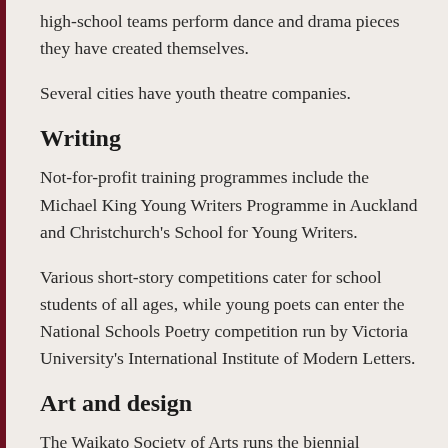high-school teams perform dance and drama pieces they have created themselves.
Several cities have youth theatre companies.
Writing
Not-for-profit training programmes include the Michael King Young Writers Programme in Auckland and Christchurch's School for Young Writers.
Various short-story competitions cater for school students of all ages, while young poets can enter the National Schools Poetry competition run by Victoria University's International Institute of Modern Letters.
Art and design
The Waikato Society of Arts runs the biennial National